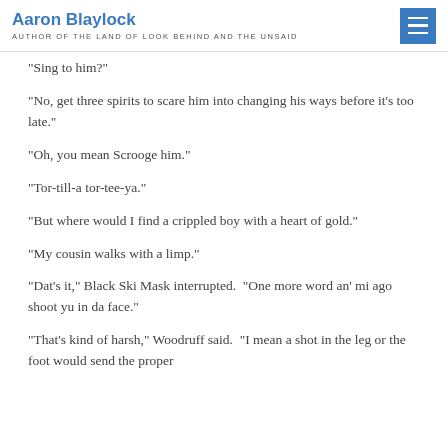Aaron Blaylock
AUTHOR OF THE LAND OF LOOK BEHIND AND THE UNSAID
“Sing to him?”
“No, get three spirits to scare him into changing his ways before it’s too late.”
“Oh, you mean Scrooge him.”
“Tor-till-a tor-tee-ya.”
“But where would I find a crippled boy with a heart of gold.”
“My cousin walks with a limp.”
“Dat’s it,” Black Ski Mask interrupted.  “One more word an’ mi ago shoot yu in da face.”
“That’s kind of harsh,” Woodruff said.  “I mean a shot in the leg or the foot would send the proper…”